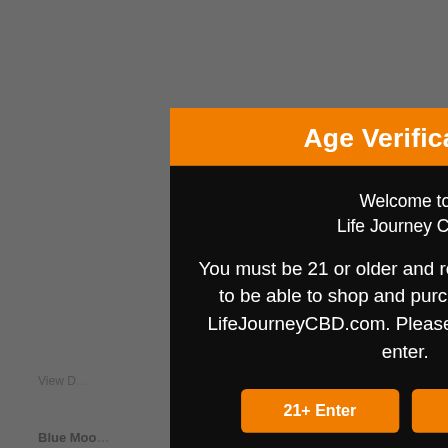[Figure (screenshot): Blurred e-commerce product page background showing product names and prices]
Age Verification
Welcome to Life Journey CBD
You must be 21 or older and respect all local laws to be able to shop and purchase products on LifeJourneyCBD.com. Please verify your age to enter.
21+ Enter
Under 21